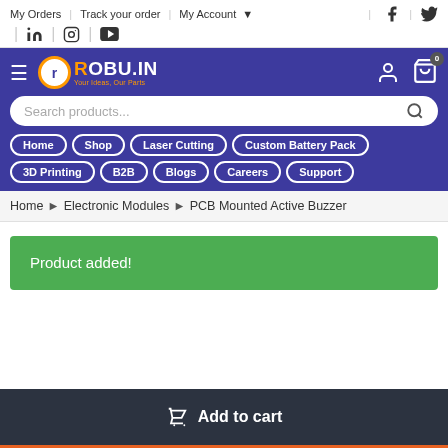My Orders | Track your order | My Account
[Figure (screenshot): Robu.in e-commerce website navigation header with logo, search bar, and nav links: Home, Shop, Laser Cutting, Custom Battery Pack, 3D Printing, B2B, Blogs, Careers, Support]
Home > Electronic Modules > PCB Mounted Active Buzzer
Product added!
Add to cart